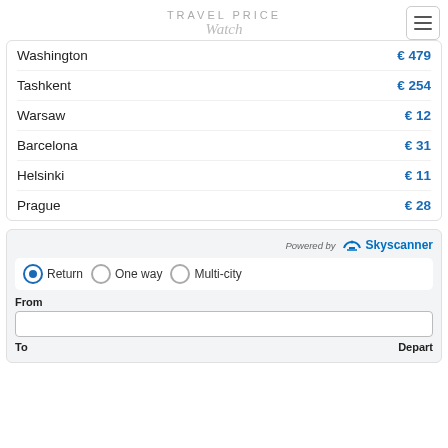TRAVEL PRICE Watch
| City | Price |
| --- | --- |
| Washington | € 479 |
| Tashkent | € 254 |
| Warsaw | € 12 |
| Barcelona | € 31 |
| Helsinki | € 11 |
| Prague | € 28 |
Powered by Skyscanner
Return  One way  Multi-city
From
To   Depart